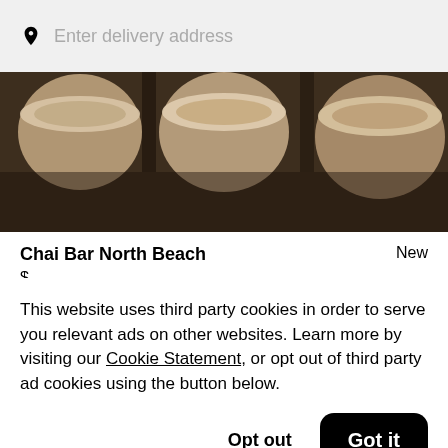Enter delivery address
[Figure (photo): Top-down photo of multiple cups of chai/coffee drinks in white paper cups, dark brown background]
Chai Bar North Beach
$
[Figure (photo): Dark product image with text 'CHAGA' visible, dark packaging on dark background]
This website uses third party cookies in order to serve you relevant ads on other websites. Learn more by visiting our Cookie Statement, or opt out of third party ad cookies using the button below.